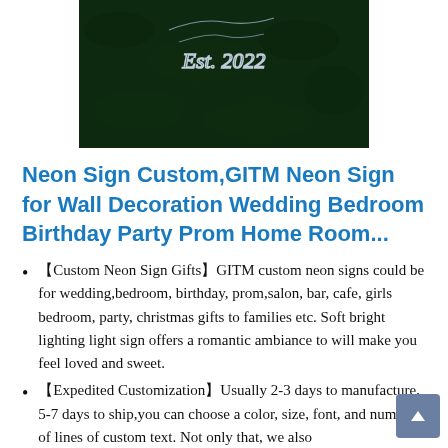[Figure (photo): Product photo of a neon sign on a dark green mossy/grass background, showing cursive text with 'Est. 2022']
Neon Sign Custom,GITM Neon Sign for Wall Decoration Wedding Bedroom Birthday Party Prom Home Room...
【Custom Neon Sign Gifts】GITM custom neon signs could be for wedding,bedroom, birthday, prom,salon, bar, cafe, girls bedroom, party, christmas gifts to families etc. Soft bright lighting light sign offers a romantic ambiance to will make you feel loved and sweet.
【Expedited Customization】Usually 2-3 days to manufacture, 5-7 days to ship,you can choose a color, size, font, and number of lines of custom text. Not only that, we also